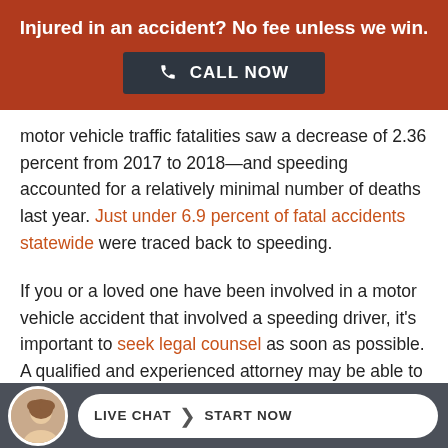Injured in an accident? No fee unless we win.
CALL NOW
motor vehicle traffic fatalities saw a decrease of 2.36 percent from 2017 to 2018—and speeding accounted for a relatively minimal number of deaths last year. Just under 6.9 percent of fatal accidents statewide were traced back to speeding.
If you or a loved one have been involved in a motor vehicle accident that involved a speeding driver, it's important to seek legal counsel as soon as possible. A qualified and experienced attorney may be able to help you pursue compensation for damages in court, help [obscured] you [obscured] or
LIVE CHAT START NOW